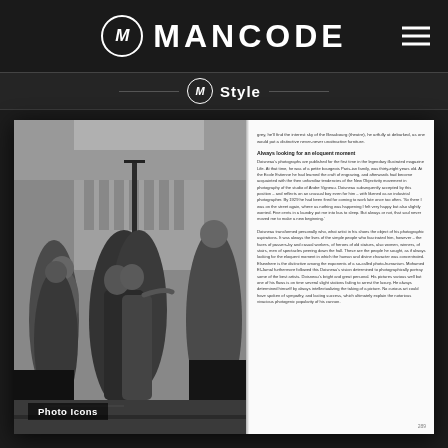MANCODE
Style
[Figure (photo): A book spread showing a black-and-white photograph of a couple kissing on a Paris street (Hotel de Ville area), with bystanders around them. The right page contains article text. The photo is labeled 'Photo Icons'. This appears to be Robert Doisneau's famous photograph.]
Photo Icons
Always looking for an eloquent moment
Doisneau's photographs are published for the first time in the legendary illustrated magazine Life. At that time, he was of a petite bourgeois Paris-ian family, was thirty-eight years old. At the Ecole Estienne he had learned the craft of engraving, and afterwards had become acquainted with the then-unfamiliar tendencies of the New Objectivity movement in photography of the studio of Andre Vigneau. Doisneau subsequently accepted by this position – and reflects on an unusual boy even for him – with likened as an industrial photographer. By 1929 he had been fired for coming to work late once too often. 'So there I was on the street again, where as nothing was happening I felt very happy but also slightly worried. Five cents in a laundry put me into bus to sleep. But always or not, that soul never moved me to make a new beginning.' Doisneau transformed personally who, what artist in his shoes the object of his photographic aspirations. It was always the lives of the simple people who fascinated him, however – the faces of passers-by and casual workers, of heroes of old statues, also women, winners, of stairs, men of spectacles peering down the hall. These are the people he sought, as if always looking for the eloquent moment in which the human and divine character was concentrated. Elsewhere is the distinctive among the exponents of a so-called photo-humanism. Mohamed El-Jamal furthermore followed this Doisneau's vision determined to photographically portray some of the best artists. Doisneau's bright and great personal. His pictures various well but one of his flaws is on time several slight stations failing to arrest the luxury. He always determined himself by always intellectualizing the taking of a picture. No curious art could have spoken of sympathy, and lasting success, which ultimately explain the notorious photogenic popularity of his cannon.
289